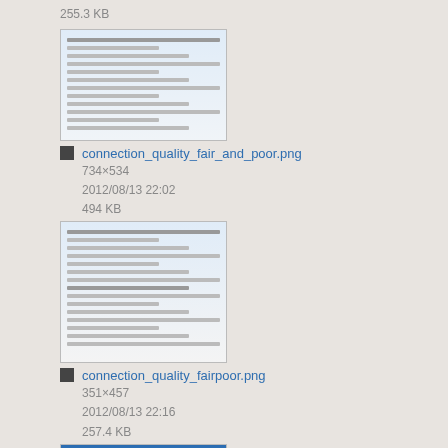255.3 KB
[Figure (screenshot): Thumbnail screenshot of connection_quality_fair_and_poor.png]
connection_quality_fair_and_poor.png
734×534
2012/08/13 22:02
494 KB
[Figure (screenshot): Thumbnail screenshot of connection_quality_fairpoor.png]
connection_quality_fairpoor.png
351×457
2012/08/13 22:16
257.4 KB
[Figure (screenshot): Thumbnail screenshot of connectionprofiler.png]
connectionprofiler.png
1245×749